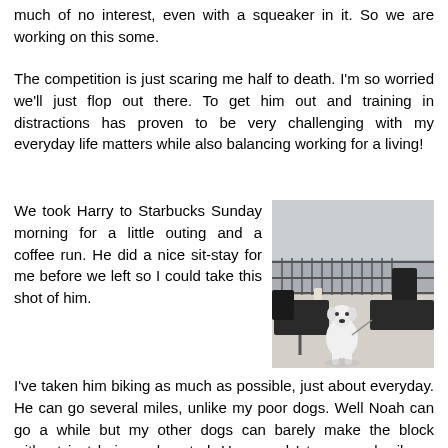much of no interest, even with a squeaker in it. So we are working on this some.
The competition is just scaring me half to death. I'm so worried we'll just flop out there. To get him out and training in distractions has proven to be very challenging with my everyday life matters while also balancing working for a living!
We took Harry to Starbucks Sunday morning for a little outing and a coffee run. He did a nice sit-stay for me before we left so I could take this shot of him.
[Figure (photo): A white dog sitting on a patio/outdoor seating area at Starbucks, with black chairs and tables around it.]
I've taken him biking as much as possible, just about everyday. He can go several miles, unlike my poor dogs. Well Noah can go a while but my other dogs can barely make the block without just being exhausted. Harry and I try several miles a day, when I can. He loves it.